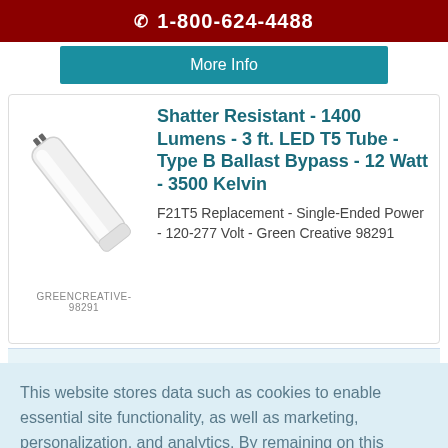☎ 1-800-624-4488
More Info
Shatter Resistant - 1400 Lumens - 3 ft. LED T5 Tube - Type B Ballast Bypass - 12 Watt - 3500 Kelvin
GREENCREATIVE-98291
F21T5 Replacement - Single-Ended Power - 120-277 Volt - Green Creative 98291
This website stores data such as cookies to enable essential site functionality, as well as marketing, personalization, and analytics. By remaining on this website you indicate your consent. Privacy Policy